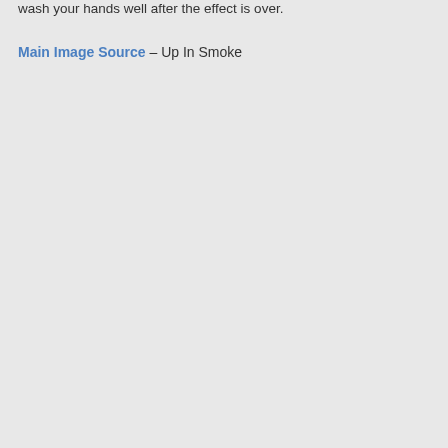wash your hands well after the effect is over.
Main Image Source – Up In Smoke